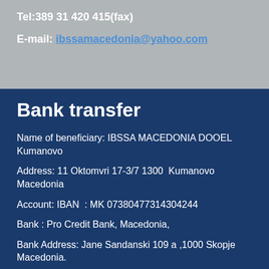Tel:389 31 420 415(fax)
E-mail: ibssamacedonia@yahoo.com
Bank transfer
Name of beneficiary: IBSSA MACEDONIA DOOEL Kumanovo
Address: 11 Oktomvri 17-3/7 1300  Kumanovo Macedonia
Account: IBAN  : MK 07380477314304244
Bank : Pro Credit Bank, Macedonia,
Bank Address: Jane Sandanski 109 a ,1000 Skopje Macedonia.